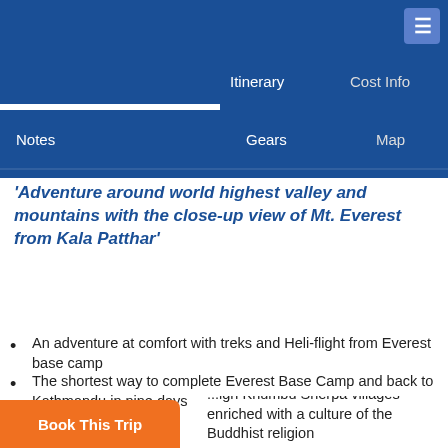Overview | Itinerary | Cost Info | Notes | Gears | Map | Departure | Customize Trip
'Adventure around world highest valley and mountains with the close-up view of Mt. Everest from Kala Patthar'
Highlights
An adventure at comfort with treks and Heli-flight from Everest base camp
The shortest way to complete Everest Base Camp and back to Kathmandu in nine days
Around high and scenic Khumbu valley with the backdrop of world highest Mt. Everest
...high Khumbu Sherpa villages enriched with a culture of the Buddhist religion
Book This Trip